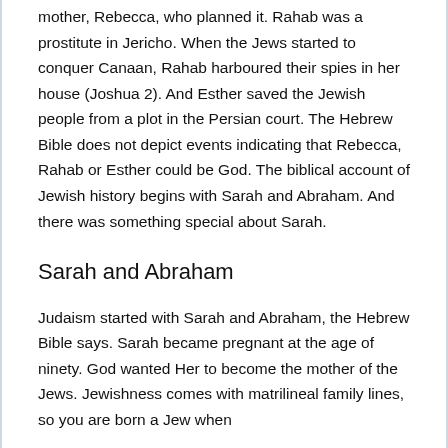mother, Rebecca, who planned it. Rahab was a prostitute in Jericho. When the Jews started to conquer Canaan, Rahab harboured their spies in her house (Joshua 2). And Esther saved the Jewish people from a plot in the Persian court. The Hebrew Bible does not depict events indicating that Rebecca, Rahab or Esther could be God. The biblical account of Jewish history begins with Sarah and Abraham. And there was something special about Sarah.
Sarah and Abraham
Judaism started with Sarah and Abraham, the Hebrew Bible says. Sarah became pregnant at the age of ninety. God wanted Her to become the mother of the Jews. Jewishness comes with matrilineal family lines, so you are born a Jew when